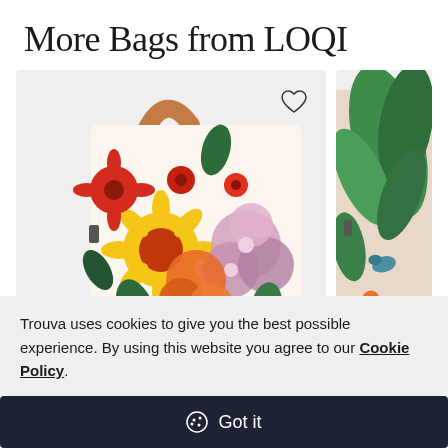More Bags from LOQI
[Figure (photo): A colorful floral tote bag with orange handle, featuring sunflowers and mixed flowers in red, yellow, orange, and purple on white background. A heart/wishlist icon is visible in the top right of the product card.]
[Figure (photo): Partial view of a second tote bag with tropical/jungle design in green tones with a bird, partially visible on the right edge.]
Trouva uses cookies to give you the best possible experience. By using this website you agree to our Cookie Policy.
Got it